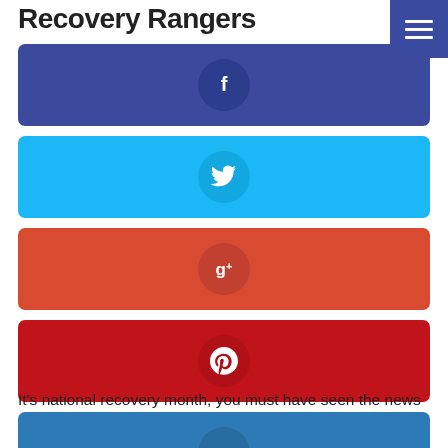Recovery Rangers
[Figure (infographic): Social media sharing buttons row: Facebook (dark blue), Twitter (light blue), Google+ (orange-red), Pinterest (red), LinkedIn (steel blue), each with centered icon circle and social network icon]
It's national recovery month, you must have seen the news